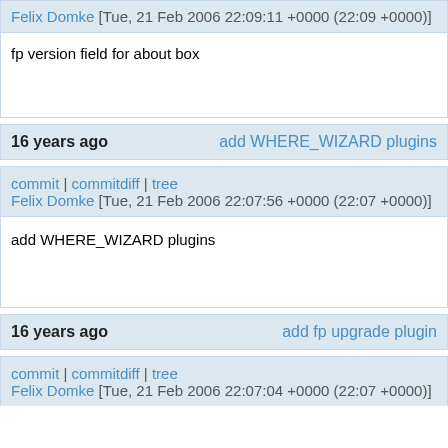Felix Domke [Tue, 21 Feb 2006 22:09:11 +0000 (22:09 +0000)]
fp version field for about box
16 years ago    add WHERE_WIZARD plugins
commit | commitdiff | tree
Felix Domke [Tue, 21 Feb 2006 22:07:56 +0000 (22:07 +0000)]
add WHERE_WIZARD plugins
16 years ago    add fp upgrade plugin
commit | commitdiff | tree
Felix Domke [Tue, 21 Feb 2006 22:07:04 +0000 (22:07 +0000)]